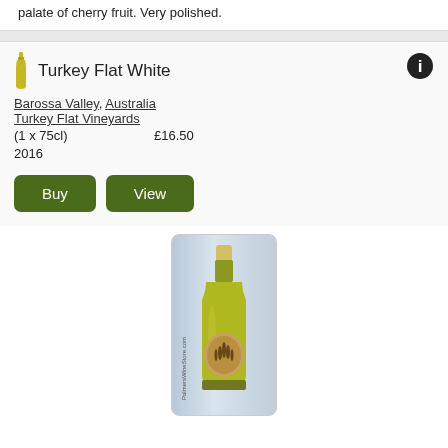palate of cherry fruit. Very polished.
Turkey Flat White
Barossa Valley, Australia
Turkey Flat Vineyards
(1 x 75cl)   £16.50
2016
[Figure (photo): A bottle of Turkey Flat White wine with a yellow-green glass bottle, gold foil top, and a circular brown label featuring hand silhouettes. The bottle is displayed against a light blue-grey background. Text 'PalmersWineStore.com' appears vertically on the left side.]